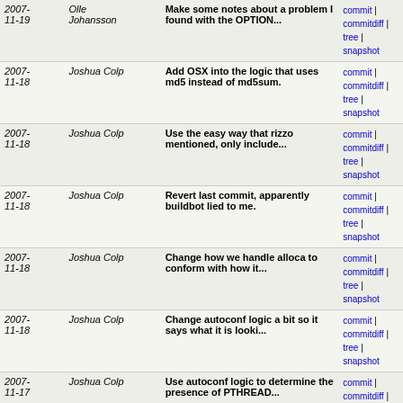| Date | Author | Commit Message | Links |
| --- | --- | --- | --- |
| 2007-11-19 | Olle Johansson | Make some notes about a problem I found with the OPTION... | commit | commitdiff | tree | snapshot |
| 2007-11-18 | Joshua Colp | Add OSX into the logic that uses md5 instead of md5sum. | commit | commitdiff | tree | snapshot |
| 2007-11-18 | Joshua Colp | Use the easy way that rizzo mentioned, only include... | commit | commitdiff | tree | snapshot |
| 2007-11-18 | Joshua Colp | Revert last commit, apparently buildbot lied to me. | commit | commitdiff | tree | snapshot |
| 2007-11-18 | Joshua Colp | Change how we handle alloca to conform with how it... | commit | commitdiff | tree | snapshot |
| 2007-11-18 | Joshua Colp | Change autoconf logic a bit so it says what it is looki... | commit | commitdiff | tree | snapshot |
| 2007-11-17 | Joshua Colp | Use autoconf logic to determine the presence of PTHREAD... | commit | commitdiff | tree | snapshot |
| 2007-11-17 | Matthew Fredrickson | Add SS7 Generic address support (#11156) | commit | commitdiff | tree | snapshot |
| 2007-11-17 | Luigi Rizzo | if alloca.h is not present, try malloc.h | commit | commitdiff | tree | snapshot |
| 2007-11-17 | Luigi Rizzo | temporarily disable this target in mingw | commit | commitdiff | tree | snapshot |
| 2007-11-17 | Luigi Rizzo | will i ever get precedences for windows right ? | commit | commitdiff | tree | snapshot |
| 2007-11-17 | Luigi Rizzo | reformulate dependencies in a more correct way | commit | commitdiff | tree | snapshot |
| 2007-11- | Steve | a quick fix to pbx_dundi.c to | commit | commitdiff | |